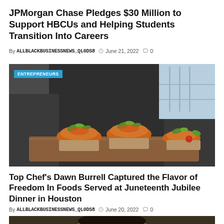JPMorgan Chase Pledges $30 Million to Support HBCUs and Helping Students Transition Into Careers
By ALLBLACKBUSINESSNEWS_QL0DS8  June 21, 2022  0
[Figure (photo): A person in a dark chef's uniform holding a wooden board with appetizers - bruschetta or toast topped with shrimp/seafood and garnished with greens. The ENTREPRENEURS badge is overlaid in the top-left corner.]
Top Chef’s Dawn Burrell Captured the Flavor of Freedom In Foods Served at Juneteenth Jubilee Dinner in Houston
By ALLBLACKBUSINESSNEWS_QL0DS8  June 20, 2022  0
[Figure (photo): Partial view of a person - only the top of the head visible, cropped at bottom of page.]